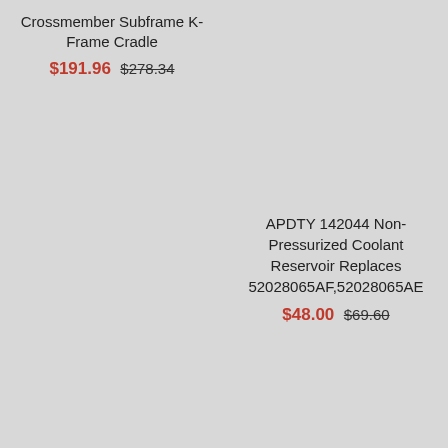Crossmember Subframe K-Frame Cradle
$191.96 $278.34
APDTY 142044 Non-Pressurized Coolant Reservoir Replaces 52028065AF,52028065AE
$48.00 $69.60